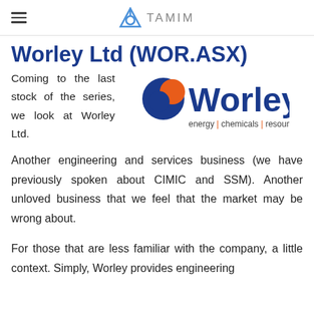TAMIM
Worley Ltd (WOR.ASX)
Coming to the last stock of the series, we look at Worley Ltd.
[Figure (logo): Worley company logo with text 'energy | chemicals | resources']
Another engineering and services business (we have previously spoken about CIMIC and SSM). Another unloved business that we feel that the market may be wrong about.
For those that are less familiar with the company, a little context. Simply, Worley provides engineering